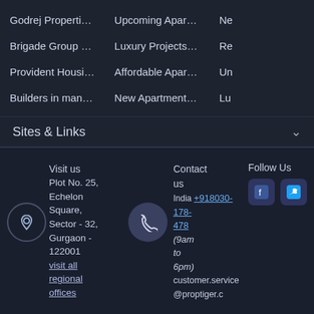Godrej Properties mang...
Upcoming Apartments i...
Ne
Brigade Group mangalore
Luxury Projects In mang...
Re
Provident Housing man...
Affordable Apartments I...
Un
Builders in mangalore
New Apartments In man...
Lu
Sites & Links
Visit us
Plot No. 25, Echelon Square, Sector - 32, Gurgaon - 122001
visit all regional offices
Contact us
India +918030-178-478
(9am to 6pm)
customer.service@proptiger.c
Follow Us
Copyright © 2022 proptiger.com